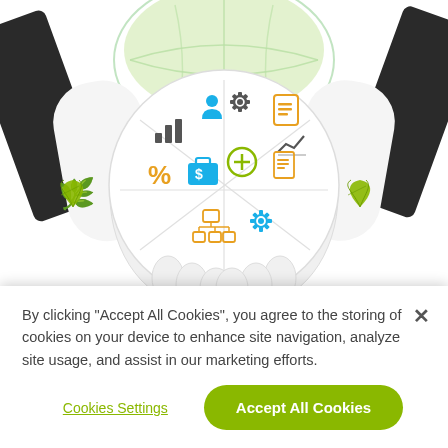[Figure (illustration): Illustration of two people in business suits shaking hands, with the handshake area filled with business icons (bar chart, person, settings gear, document, line chart, percent sign, dollar briefcase, plus symbol, org chart, settings gear, document) and green cannabis leaves on either side, with a globe visible behind. Shadow beneath handshake.]
Industry-Leading Support
Green CulturED... (partially obscured/blurred)
By clicking “Accept All Cookies”, you agree to the storing of cookies on your device to enhance site navigation, analyze site usage, and assist in our marketing efforts.
Cookies Settings
Accept All Cookies